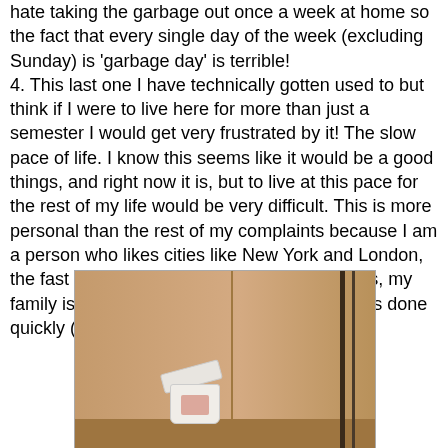hate taking the garbage out once a week at home so the fact that every single day of the week (excluding Sunday) is 'garbage day' is terrible! 4. This last one I have technically gotten used to but think if I were to live here for more than just a semester I would get very frustrated by it! The slow pace of life. I know this seems like it would be a good things, and right now it is, but to live at this pace for the rest of my life would be very difficult. This is more personal than the rest of my complaints because I am a person who likes cities like New York and London, the fast pace is what attracts me to them. Plus, my family is always multitasking and getting things done quickly (besides Mom haha just kidding).
[Figure (photo): A small white trash bin with its lid open, sitting in the corner of a room with warm orange-beige walls. Dark vertical rods or furniture visible on the right side.]